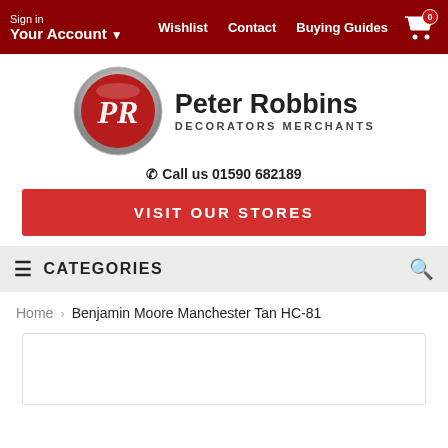Sign in Your Account ▾  Wishlist  Contact  Buying Guides  [cart 0]
[Figure (logo): Peter Robbins Decorators Merchants logo — red circular emblem with PR monogram, beside text 'Peter Robbins DECORATORS MERCHANTS']
☎ Call us 01590 682189
VISIT OUR STORES
≡ CATEGORIES
Home › Benjamin Moore Manchester Tan HC-81